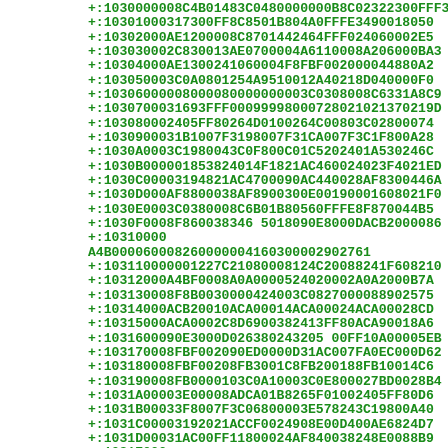+:1030000008C4B01483C0480000000B8C02322300FFF3
+:1030100003173000FF8C8501B804A0FFFE3490018050
+:1030200 0AE1200008C8701442464FFF024060002E5
+:103030002C830013AE0700004A6110008A206000BA3
+:1030400 0AE1300241060004F8FBF002000044880A2
+:1030500 03C0A0801254A9510012A40218D040000F0
+:103060000080000800000000 3C0308008C6331A8C9
+:1030700031693FFF0009999800072802 10213 70219D
+:1030800 02405FF80264D0100264C00803C02800074
+:1030900031B1007F3198007F31CA007F3C1F800A28
+:1030A0003C1980043C0F800C01C5202401A530246C
+:1030B000 01853824014F1821AC460024023F4021ED
+:1030C00003194821AC4700090AC440028AF8300446A
+:1030D000AF8800 38AF8900300E00190001608021F0
+:1030E0003C0380008C6B01B80560FFFE8F870044B5
+:1030F0008F860038346 5018090E8000DACB2000086
+:1031000 0A4B0000600082600000041603000 2902761
+:103110000012 27C21080008124C20088241F608210
+:10312000A4BF0008A0A000052402 0002A0A2000B7A
+:10313000 8F8B0030000424003C082700 0088902575
+:10314000ACB20010ACA00014ACA00024ACA00028CD
+:10315000ACA0002C8D6900382413FF80ACA90018A6
+:1031600090E3000D026380243205 00FF10A00005EB
+:1031700 08FBF002090ED0000D31AC007FA0EC000D62
+:1031800 08FBF00208FB3001C8FB200188FB10014C6
+:10319000 8FB0000103C0A10003C0E800027BD0028B4
+:1031A00003E00008ADCA01B8265F01002405FF80D6
+:1031B0003 3F8007F3C06800003E578243C19800A40
+:1031C000 03192021ACCF0024908E00D400AE6824D7
+:1031D00031AC00FF11800024AF840038248E0088B9
+:1031E000...